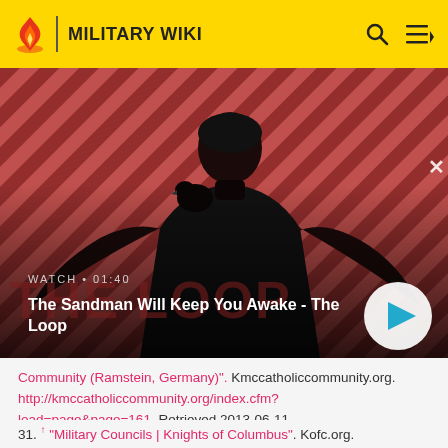MILITARY WIKI
[Figure (screenshot): Video thumbnail for 'The Sandman Will Keep You Awake - The Loop' showing a man in black with a raven on his shoulder against a red and black striped background. Watch label shows 01:40 duration with play button.]
Community (Ramstein, Germany)". Kmccatholiccommunity.org. http://kmccatholiccommunity.org/index.cfm?load=page&page=161. Retrieved 2013-06-11.
31. ↑ "Military Councils | Knights of Columbus". Kofc.org.